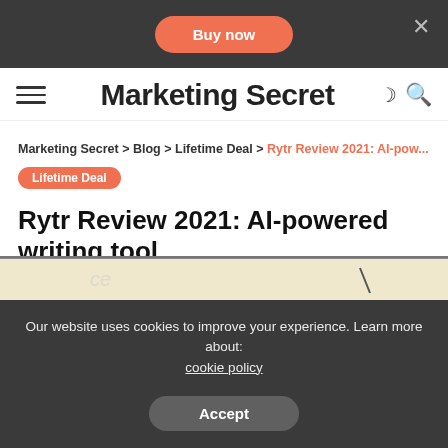Buy now
Marketing Secret
Marketing Secret > Blog > Lifetime Deal > Rytr Review 2021: AI-pow...
Lifetime Deal
Rytr Review 2021: AI-powered writing tool
11 Min Read | Zeeshan | 18 July 2021
[Figure (photo): Author avatar - cartoon style illustration of a bearded man]
[Figure (illustration): Partial preview of article image with beige/cream background]
Our website uses cookies to improve your experience. Learn more about: cookie policy
Accept